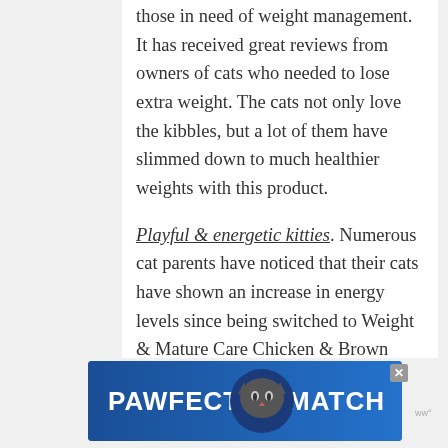those in need of weight management. It has received great reviews from owners of cats who needed to lose extra weight. The cats not only love the kibbles, but a lot of them have slimmed down to much healthier weights with this product.
Playful & energetic kitties. Numerous cat parents have noticed that their cats have shown an increase in energy levels since being switched to Weight & Mature Care Chicken & Brown Rice cat food. They are more active and playful than before. The shedding of excess weights may contribute to this positive effect.
[Figure (other): PAWFECT MATCH advertisement banner with a cat illustration, blue and white background, with a close button (x)]